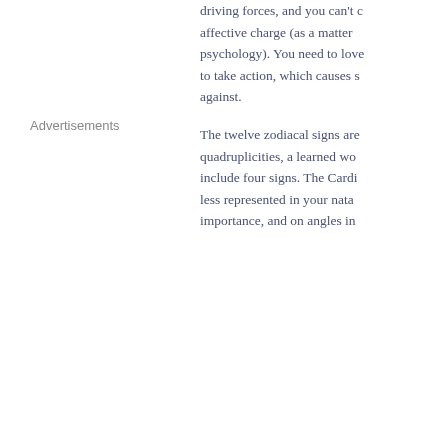driving forces, and you can't... affective charge (as a matter of psychology). You need to love... to take action, which causes... against.
The twelve zodiacal signs are... quadruplicities, a learned wo... include four signs. The Cardi... less represented in your nata... importance, and on angles in...
Advertisements
Mutable (34.7%)
[Figure (pie-chart): Partial pie chart visible at bottom right showing a pink/magenta colored slice, likely representing Mutable at 34.7%]